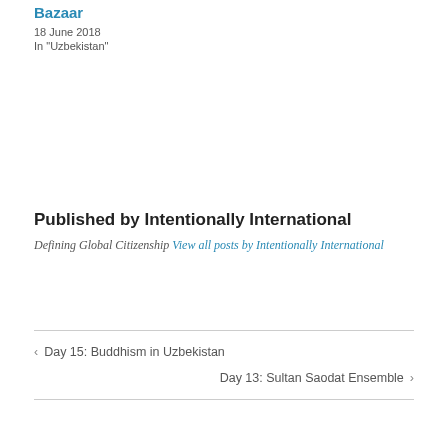Bazaar
18 June 2018
In "Uzbekistan"
Published by Intentionally International
Defining Global Citizenship View all posts by Intentionally International
‹ Day 15: Buddhism in Uzbekistan
Day 13: Sultan Saodat Ensemble ›